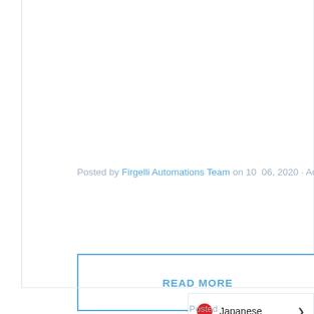Posted by Firgelli Automations Team on 10  06, 2020 · Actuat
READ MORE
Japanese
Posted